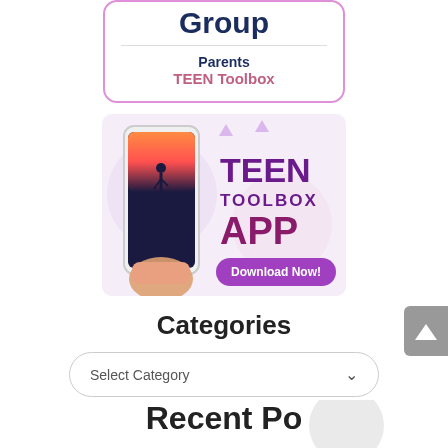Group
Parents
TEEN Toolbox
[Figure (screenshot): TEEN TOOLBOX APP advertisement banner with phone mockup showing a silhouette against a sunset, and Download Now button]
Categories
Select Category
Recent Posts